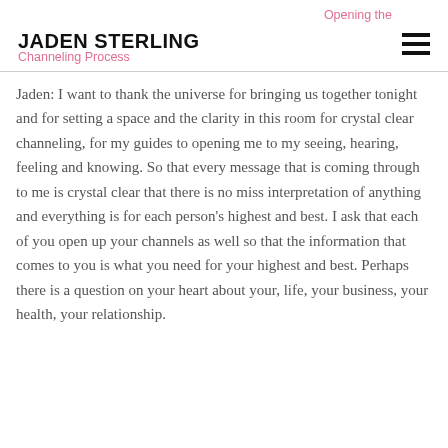JADEN STERLING | Opening the Channeling Process
Jaden: I want to thank the universe for bringing us together tonight and for setting a space and the clarity in this room for crystal clear channeling, for my guides to opening me to my seeing, hearing, feeling and knowing. So that every message that is coming through to me is crystal clear that there is no miss interpretation of anything and everything is for each person’s highest and best. I ask that each of you open up your channels as well so that the information that comes to you is what you need for your highest and best. Perhaps there is a question on your heart about your, life, your business, your health, your relationship.